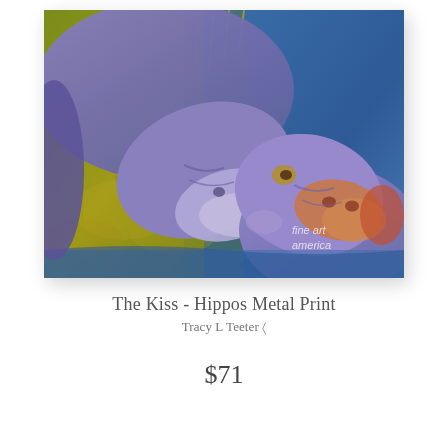[Figure (illustration): A colorful painting of two hippopotamuses appearing to kiss or nuzzle each other. The larger hippo leans down from the upper left toward a smaller hippo in the lower right. The background shows yellow-green grasses on the left and blue water on the right. The hippos are rendered in purple-blue tones with orange-brown accents. A 'fine art america' watermark appears in the lower right corner. The image has a slight shadow/tilt effect suggesting it is a print or mounted artwork.]
The Kiss - Hippos Metal Print
Tracy L Teeter ♡
$71